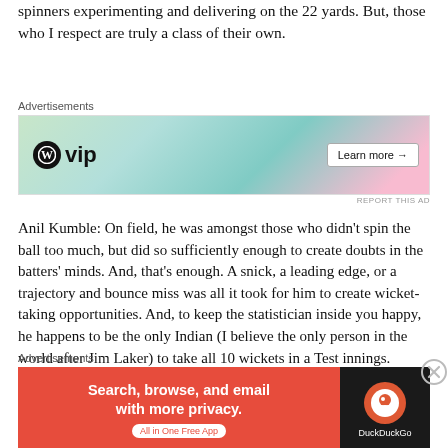spinners experimenting and delivering on the 22 yards. But, those who I respect are truly a class of their own.
[Figure (other): Advertisement banner: WordPress VIP with Slack and Facebook cards, Learn more button]
Anil Kumble: On field, he was amongst those who didn’t spin the ball too much, but did so sufficiently enough to create doubts in the batters’ minds. And, that’s enough. A snick, a leading edge, or a trajectory and bounce miss was all it took for him to create wicket-taking opportunities. And, to keep the statistician inside you happy, he happens to be the only Indian (I believe the only person in the world after Jim Laker) to take all 10 wickets in a Test innings.
[Figure (other): Advertisement banner: DuckDuckGo - Search, browse, and email with more privacy. All in One Free App]